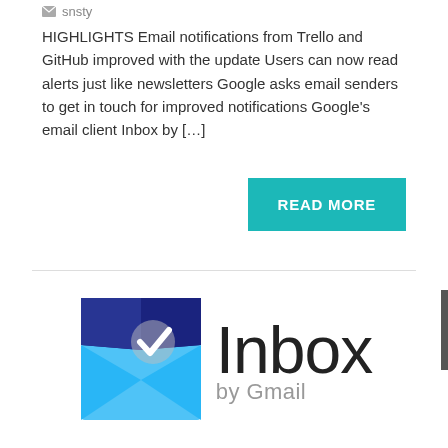snsty
HIGHLIGHTS Email notifications from Trello and GitHub improved with the update Users can now read alerts just like newsletters Google asks email senders to get in touch for improved notifications Google's email client Inbox by […]
READ MORE
[Figure (logo): Inbox by Gmail logo — blue envelope icon with white checkmark, next to text 'Inbox by Gmail' in dark/grey colors]